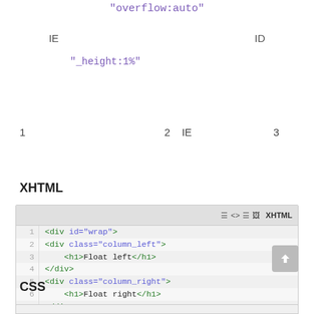"overflow:auto"
IE    ID
"_height:1%"
1    2  IE    3
XHTML
[Figure (screenshot): Code editor screenshot showing XHTML markup with numbered lines: 1 <div id="wrap">, 2 <div class="column_left">, 3 <h1>Float left</h1>, 4 </div>, 5 <div class="column_right">, 6 <h1>Float right</h1>, 7 </div>, 8 </div>]
CSS
[Figure (screenshot): Bottom of CSS code editor block, partially visible]